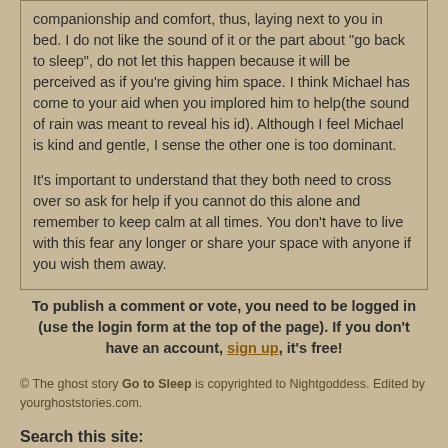companionship and comfort, thus, laying next to you in bed. I do not like the sound of it or the part about "go back to sleep", do not let this happen because it will be perceived as if you're giving him space. I think Michael has come to your aid when you implored him to help(the sound of rain was meant to reveal his id). Although I feel Michael is kind and gentle, I sense the other one is too dominant.

It's important to understand that they both need to cross over so ask for help if you cannot do this alone and remember to keep calm at all times. You don't have to live with this fear any longer or share your space with anyone if you wish them away.
To publish a comment or vote, you need to be logged in (use the login form at the top of the page). If you don't have an account, sign up, it's free!
© The ghost story Go to Sleep is copyrighted to Nightgoddess. Edited by yourghoststories.com.
Search this site: